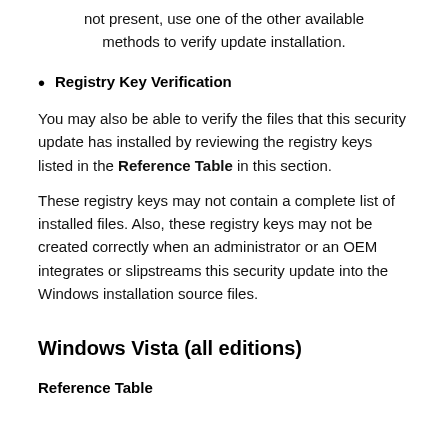not present, use one of the other available methods to verify update installation.
Registry Key Verification
You may also be able to verify the files that this security update has installed by reviewing the registry keys listed in the Reference Table in this section.
These registry keys may not contain a complete list of installed files. Also, these registry keys may not be created correctly when an administrator or an OEM integrates or slipstreams this security update into the Windows installation source files.
Windows Vista (all editions)
Reference Table